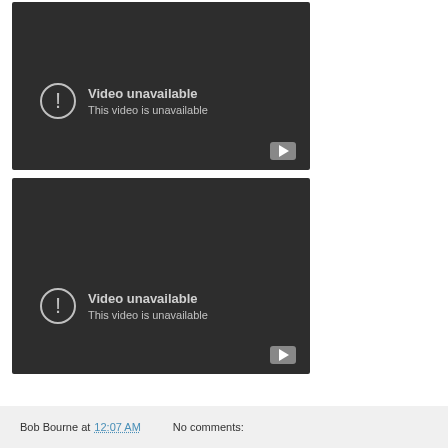[Figure (screenshot): Video player placeholder showing 'Video unavailable / This video is unavailable' with YouTube logo icon, dark background]
[Figure (screenshot): Video player placeholder showing 'Video unavailable / This video is unavailable' with YouTube logo icon, dark background]
Bob Bourne at 12:07 AM   No comments: